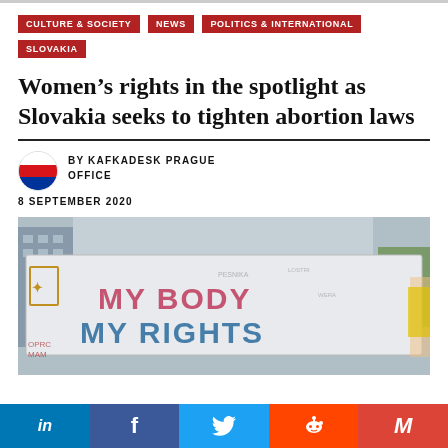CULTURE & SOCIETY
NEWS
POLITICS & INTERNATIONAL
SLOVAKIA
Women’s rights in the spotlight as Slovakia seeks to tighten abortion laws
BY KAFKADESK PRAGUE OFFICE
8 SEPTEMBER 2020
[Figure (photo): Protest banner reading MY BODY MY RIGHTS with Amnesty International logo, held at a demonstration]
in  f  🐦  reddit  M